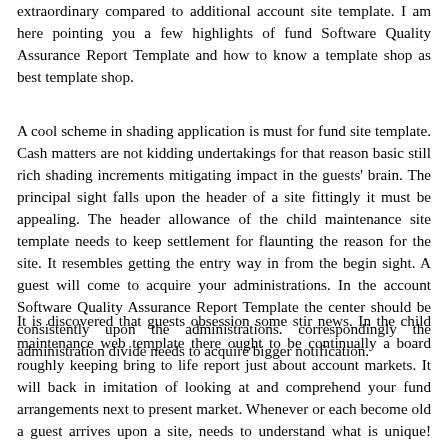extraordinary compared to additional account site template. I am here pointing you a few highlights of fund Software Quality Assurance Report Template and how to know a template shop as best template shop.
A cool scheme in shading application is must for fund site template. Cash matters are not kidding undertakings for that reason basic still rich shading increments mitigating impact in the guests' brain. The principal sight falls upon the header of a site fittingly it must be appealing. The header allowance of the child maintenance site template needs to keep settlement for flaunting the reason for the site. It resembles getting the entry way in from the begin sight. A guest will come to acquire your administrations. In the account Software Quality Assurance Report Template the center should be consistently upon the administrations. correspondingly the administration divide needs to acquire bigger notification.
It is discovered that guests obsession some stir news. In the child maintenance web template there ought to be continually a board roughly keeping bring to life report just about account markets. It will back in imitation of looking at and comprehend your fund arrangements next to present market. Whenever or each become old a guest arrives upon a site, needs to understand what is unique! grant site template compulsion to save a vent to accomplishment the fantastic fund administrations from